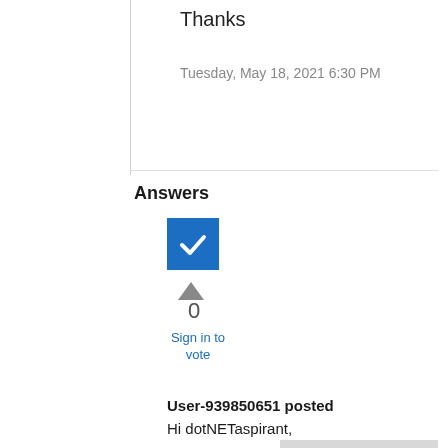Thanks
Tuesday, May 18, 2021 6:30 PM
Answers
[Figure (other): Blue checkbox/checkmark icon indicating accepted answer]
[Figure (other): Upvote arrow triangle icon]
0
Sign in to vote
User-939850651 posted
Hi dotNETaspirant,